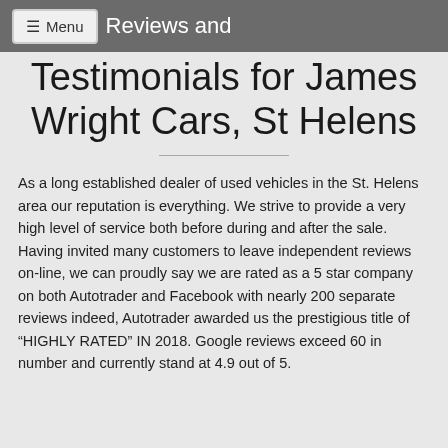Menu  Reviews and
Reviews and Testimonials for James Wright Cars, St Helens
As a long established dealer of used vehicles in the St. Helens area our reputation is everything. We strive to provide a very high level of service both before during and after the sale. Having invited many customers to leave independent reviews on-line, we can proudly say we are rated as a 5 star company on both Autotrader and Facebook with nearly 200 separate reviews indeed, Autotrader awarded us the prestigious title of “HIGHLY RATED” IN 2018. Google reviews exceed 60 in number and currently stand at 4.9 out of 5.